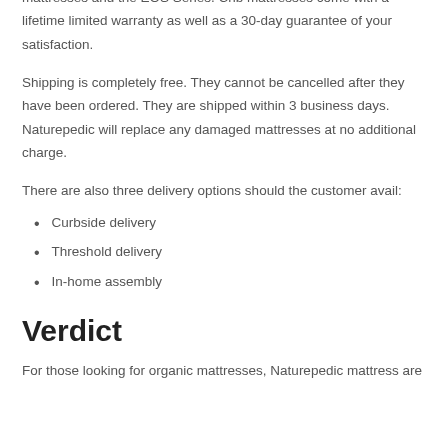warranty is offered. The warranty is valid for 20 years for luxury mattresses and the EOS Series. Crib mattresses come with a lifetime limited warranty as well as a 30-day guarantee of your satisfaction.
Shipping is completely free. They cannot be cancelled after they have been ordered. They are shipped within 3 business days. Naturepedic will replace any damaged mattresses at no additional charge.
There are also three delivery options should the customer avail:
Curbside delivery
Threshold delivery
In-home assembly
Verdict
For those looking for organic mattresses, Naturepedic mattress are